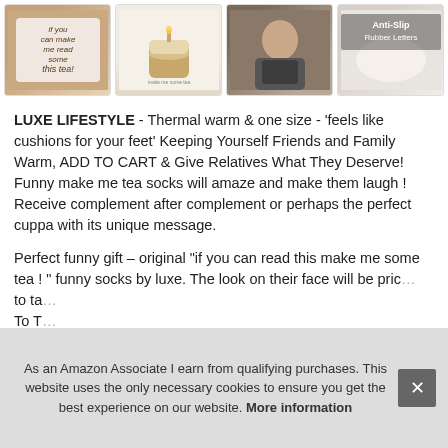[Figure (photo): Row of four product thumbnail images: socks with text, candle jar, woman reading, anti-slip socks with text overlay 'Anti-Slip Rubber Letters']
LUXE LIFESTYLE - Thermal warm & one size - 'feels like cushions for your feet' Keeping Yourself Friends and Family Warm, ADD TO CART & Give Relatives What They Deserve! Funny make me tea socks will amaze and make them laugh ! Receive complement after complement or perhaps the perfect cuppa with its unique message.
Perfect funny gift – original "if you can read this make me some tea ! " funny socks by luxe. The look on their face will be pric… to ta… To T…
As an Amazon Associate I earn from qualifying purchases. This website uses the only necessary cookies to ensure you get the best experience on our website. More information